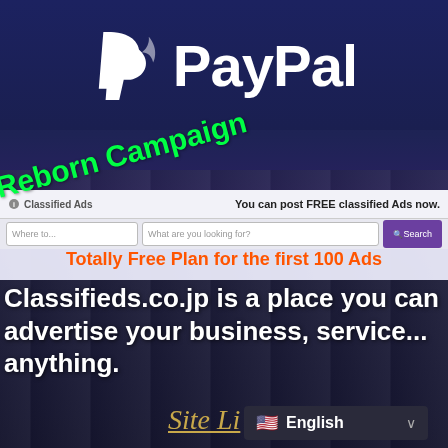[Figure (logo): PayPal logo: white P icon and PayPal wordmark on dark navy background]
[Figure (screenshot): Classified Ads website banner showing search interface with 'You can post FREE classified Ads now.' text and a purple Search button]
Reborn Campaign
Totally Free Plan for the first 100 Ads
Classifieds.co.jp is a place you can advertise your business, service... anything.
Site Li
English